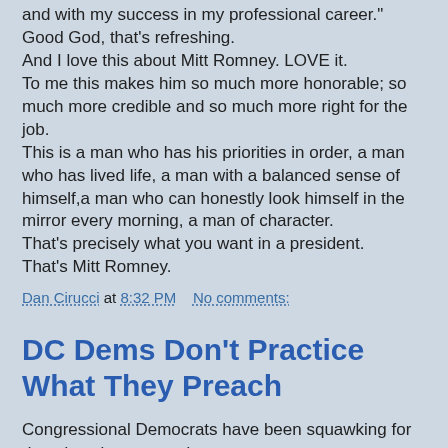and with my success in my professional career."
Good God, that's refreshing.
And I love this about Mitt Romney. LOVE it.
To me this makes him so much more honorable; so much more credible and so much more right for the job.
This is a man who has his priorities in order, a man who has lived life, a man with a balanced sense of himself,a man who can honestly look himself in the mirror every morning, a man of character.
That's precisely what you want in a president.
That's Mitt Romney.
Dan Cirucci at 8:32 PM    No comments:
DC Dems Don't Practice What They Preach
Congressional Democrats have been squawking for decades about a gender pay gap.
They bellyache that men are paid far more than women in comparable jobs.